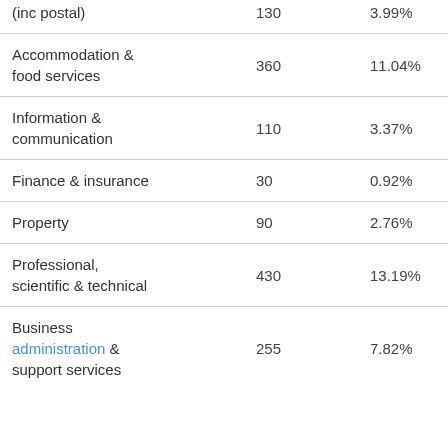| Category | Count | Percentage |
| --- | --- | --- |
| (inc postal) | 130 | 3.99% |
| Accommodation & food services | 360 | 11.04% |
| Information & communication | 110 | 3.37% |
| Finance & insurance | 30 | 0.92% |
| Property | 90 | 2.76% |
| Professional, scientific & technical | 430 | 13.19% |
| Business administration & support services | 255 | 7.82% |